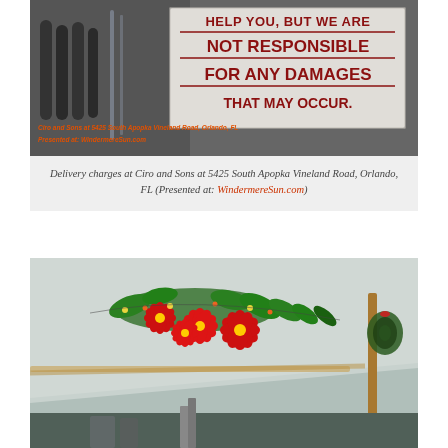[Figure (photo): Photo of a sign at Ciro and Sons reading 'NOT RESPONSIBLE FOR ANY DAMAGES THAT MAY OCCUR.' in large dark red bold text on a light background. The sign is inside what appears to be a warehouse or tent area. Overlay text in red italic reads: Ciro and Sons at 5425 South Apopka Vineland Road, Orlando, FL. Presented at: WindermereSun.com]
Delivery charges at Ciro and Sons at 5425 South Apopka Vineland Road, Orlando, FL (Presented at: WindermereSun.com)
[Figure (photo): Photo taken inside a large white tent showing a decorative Christmas light display of poinsettia flowers (red with green leaves) strung along the tent interior. A wooden tent pole is visible on the right side. Christmas wreaths and other decorations are visible. The tent ceiling is light grey/white.]